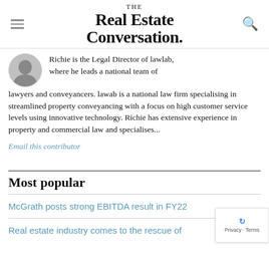THE Real Estate Conversation.
Richie is the Legal Director of lawlab, where he leads a national team of lawyers and conveyancers. lawab is a national law firm specialising in streamlined property conveyancing with a focus on high customer service levels using innovative technology. Richie has extensive experience in property and commercial law and specialises...
Email this contributor
Most popular
McGrath posts strong EBITDA result in FY22
Real estate industry comes to the rescue of